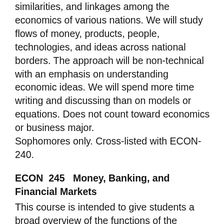similarities, and linkages among the economics of various nations. We will study flows of money, products, people, technologies, and ideas across national borders. The approach will be non-technical with an emphasis on understanding economic ideas. We will spend more time writing and discussing than on models or equations. Does not count toward economics or business major.
Sophomores only. Cross-listed with ECON-240.
ECON 245   Money, Banking, and Financial Markets
This course is intended to give students a broad overview of the functions of the financial system and monetary policy in the U.S. and the global economy. It covers the Bond, Stock and Foreign exchange markets and how interest rates, stock prices and the value of the dollar in terms of foreign currency are determined. Bank balance sheets, Interest rate risk, liquidity, asset and capital adequacy management are also covered. The functions, history and role of the Federal Reserve